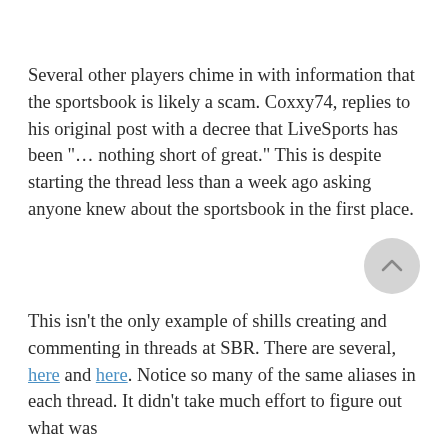Several other players chime in with information that the sportsbook is likely a scam. Coxxy74, replies to his original post with a decree that LiveSports has been "… nothing short of great." This is despite starting the thread less than a week ago asking anyone knew about the sportsbook in the first place.
This isn't the only example of shills creating and commenting in threads at SBR. There are several, here and here. Notice so many of the same aliases in each thread. It didn't take much effort to figure out what was